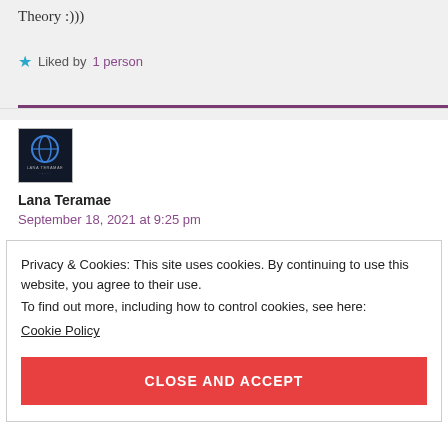Theory :)))
★ Liked by 1 person
[Figure (photo): Avatar image for Lana Teramae — dark navy background with a circular globe-like icon and text 'LANA TERAMAE']
Lana Teramae
September 18, 2021 at 9:25 pm
Privacy & Cookies: This site uses cookies. By continuing to use this website, you agree to their use.
To find out more, including how to control cookies, see here: Cookie Policy
CLOSE AND ACCEPT